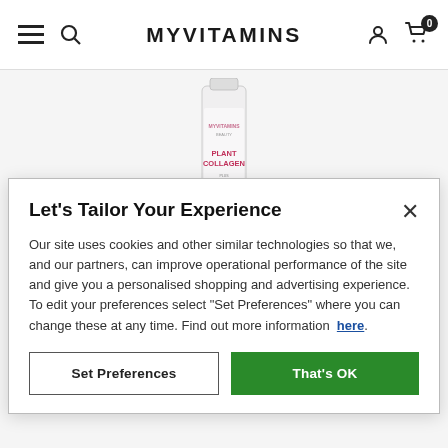MYVITAMINS
[Figure (photo): A tall, slim product package for MYVITAMINS BEAUTY Plant Collagen supplement with white and pink/gold design on a light grey background]
Let's Tailor Your Experience
Our site uses cookies and other similar technologies so that we, and our partners, can improve operational performance of the site and give you a personalised shopping and advertising experience. To edit your preferences select "Set Preferences" where you can change these at any time. Find out more information here.